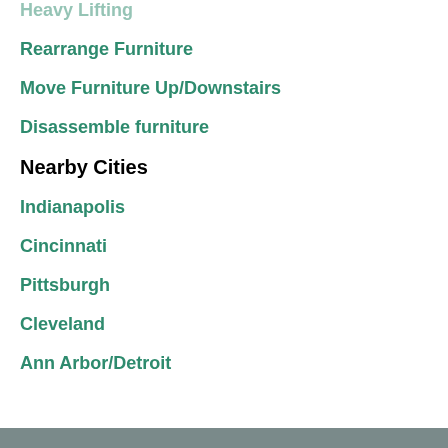Heavy Lifting
Rearrange Furniture
Move Furniture Up/Downstairs
Disassemble furniture
Nearby Cities
Indianapolis
Cincinnati
Pittsburgh
Cleveland
Ann Arbor/Detroit